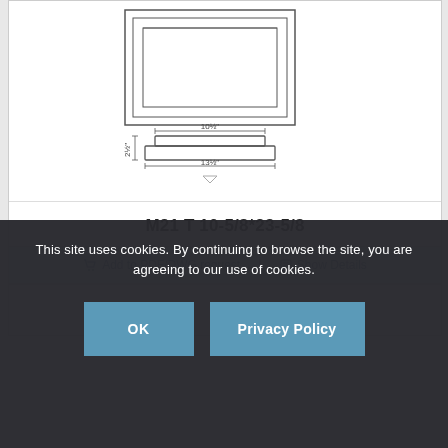[Figure (engineering-diagram): Technical drawing of cabinet/window frame component M21 T 10-5/8*23-5/8. Shows front view of framed panel with molding at top, and a side/base profile view below with dimension annotations: 10½" width, 13½" total width, 2½" height.]
M21 T 10-5/8*23-5/8
Add to PDF/DWG request | Show Details
This site uses cookies. By continuing to browse the site, you are agreeing to our use of cookies.
OK
Privacy Policy